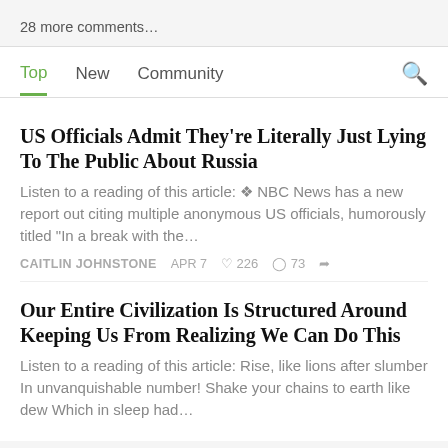28 more comments…
Top  New  Community
US Officials Admit They're Literally Just Lying To The Public About Russia
Listen to a reading of this article: ❖ NBC News has a new report out citing multiple anonymous US officials, humorously titled "In a break with the…
CAITLIN JOHNSTONE  APR 7  ♡ 226  ◯ 73  ↗
Our Entire Civilization Is Structured Around Keeping Us From Realizing We Can Do This
Listen to a reading of this article: Rise, like lions after slumber In unvanquishable number! Shake your chains to earth like dew Which in sleep had…